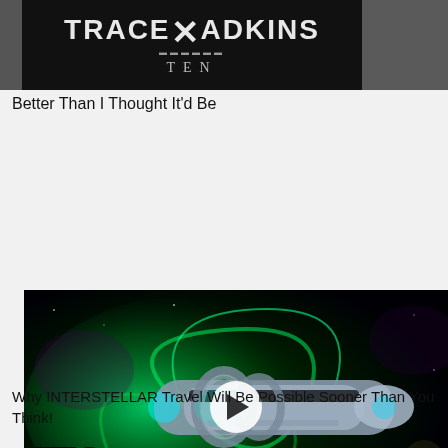[Figure (photo): Trace Adkins album cover 'TEN' with stylized logo on dark background]
Better Than I Thought It'd Be
[Figure (photo): Science fiction interstellar spaceship with green vortex swirl. Overlay text: IT'S HAPPENING! with play button. Clickable video thumbnail.]
Why INTERSTELLAR Travel Will Be Possible Sooner Than You Think!